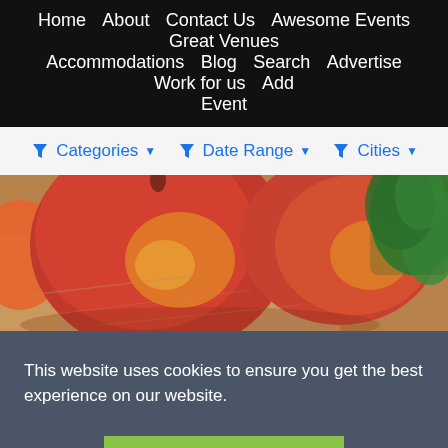Home   About   Contact Us   Awesome Events   Great Venues   Accommodations   Blog   Search   Advertise   Work for us   Add Event
Categories  ▾
Date Range  ▾
Cities  ▾
[Figure (photo): Close-up photo of red/yellow mangoes or peaches with green leafy herbs on paper background]
This website uses cookies to ensure you get the best experience on our website.
Got it!